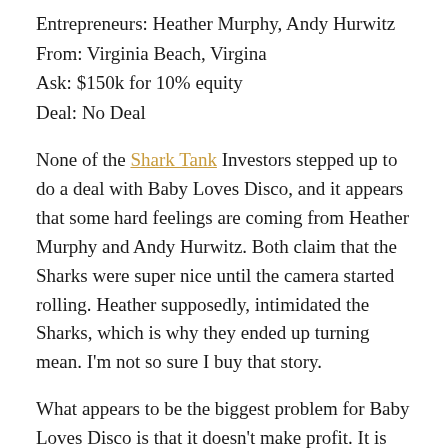Entrepreneurs: Heather Murphy, Andy Hurwitz
From: Virginia Beach, Virgina
Ask: $150k for 10% equity
Deal: No Deal
None of the Shark Tank Investors stepped up to do a deal with Baby Loves Disco, and it appears that some hard feelings are coming from Heather Murphy and Andy Hurwitz. Both claim that the Sharks were super nice until the camera started rolling. Heather supposedly, intimidated the Sharks, which is why they ended up turning mean. I'm not so sure I buy that story.
What appears to be the biggest problem for Baby Loves Disco is that it doesn't make profit. It is